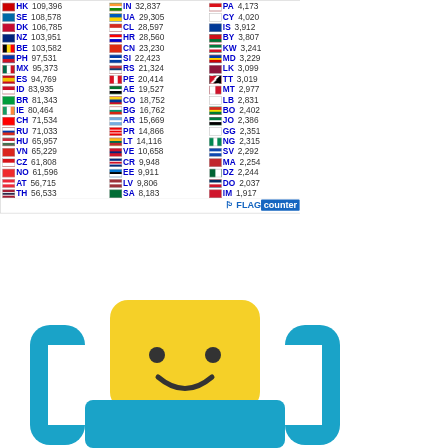[Figure (table-as-image): Flag counter table showing country codes and visitor counts: HK 109,396 | IN 32,837 | PA 4,173 | SE 108,578 | UA 29,305 | CY 4,020 | DK 106,785 | CL 28,597 | IS 3,912 | NZ 103,951 | HR 28,560 | BY 3,807 | BE 103,582 | CN 23,230 | KW 3,241 | PH 97,531 | SI 22,423 | MD 3,229 | MX 95,373 | RS 21,324 | LK 3,099 | ES 94,769 | PE 20,414 | TT 3,019 | ID 83,935 | AE 19,527 | MT 2,977 | BR 81,343 | CO 18,752 | LB 2,831 | IE 80,464 | BG 16,762 | BO 2,402 | CH 71,534 | AR 15,669 | JO 2,386 | RU 71,033 | PR 14,866 | GG 2,351 | HU 65,957 | LT 14,116 | NG 2,315 | VN 65,229 | VE 10,658 | SV 2,292 | CZ 61,808 | CR 9,948 | MA 2,254 | NO 61,596 | EE 9,911 | DZ 2,244 | AT 56,715 | LV 9,806 | DO 2,037 | TH 56,533 | SA 8,183 | IM 1,917. Logo: FLAG counter]
[Figure (illustration): Lego minifigure logo - yellow face with dot eyes and smile on blue/teal body with bracket designs on sides]